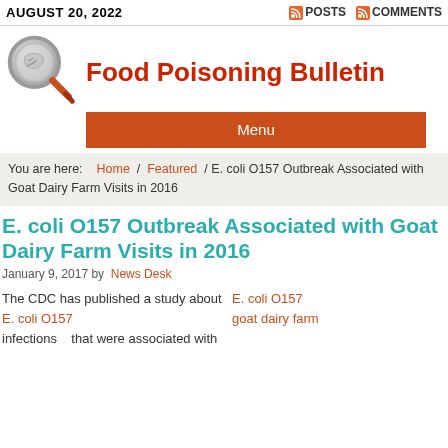AUGUST 20, 2022   POSTS   COMMENTS
[Figure (logo): Magnifying glass icon logo for Food Poisoning Bulletin]
Food Poisoning Bulletin
Menu
You are here: Home / Featured / E. coli O157 Outbreak Associated with Goat Dairy Farm Visits in 2016
E. coli O157 Outbreak Associated with Goat Dairy Farm Visits in 2016
January 9, 2017 by News Desk
The CDC has published a study about E. coli O157 infections that were associated with goat dairy farm